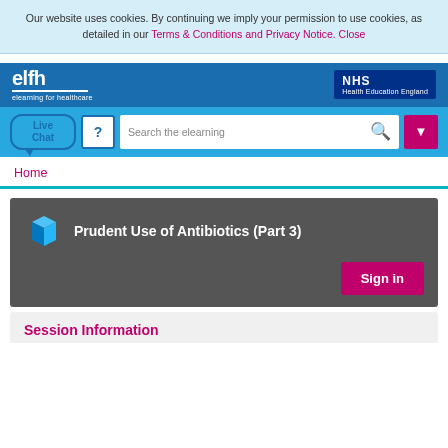Our website uses cookies. By continuing we imply your permission to use cookies, as detailed in our Terms & Conditions and Privacy Notice. Close
[Figure (logo): elfh elearning for healthcare logo on blue navigation bar]
[Figure (logo): NHS Health Education England logo]
[Figure (screenshot): Live Chat button, help button, search bar with magnifying glass icon, and dropdown button]
Home
Prudent Use of Antibiotics (Part 3)
Sign in
Session Information